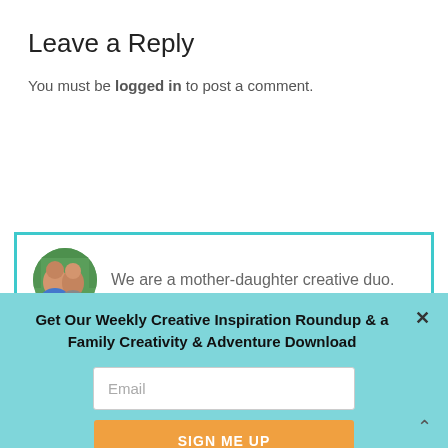Leave a Reply
You must be logged in to post a comment.
[Figure (photo): Circular avatar photo of two women (mother-daughter duo) outdoors with green foliage background]
We are a mother-daughter creative duo.
Get Our Weekly Creative Inspiration Roundup & a Family Creativity & Adventure Download
Email
SIGN ME UP